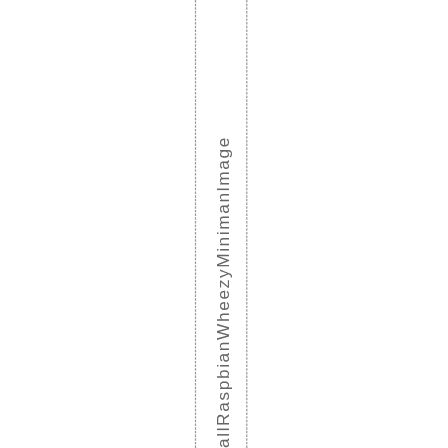a l l R a s p b i a n W h e e z y M i n i m a n I m a g e